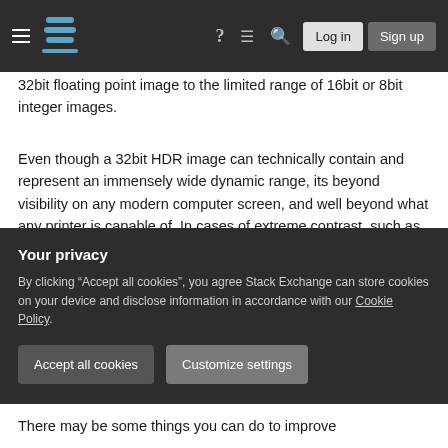Stack Exchange navigation bar with Log in and Sign up buttons
32bit floating point image to the limited range of 16bit or 8bit integer images.
Even though a 32bit HDR image can technically contain and represent an immensely wide dynamic range, its beyond visibility on any modern computer screen, and well beyond what any printer is capable of. In cases of extreme contrast, such as photographs with the sun in them that also include deep shadows, or in your case, night photographs that include artificial lighting via lamps and the like, there is simply too much contrast to compress into a
Your privacy
By clicking “Accept all cookies”, you agree Stack Exchange can store cookies on your device and disclose information in accordance with our Cookie Policy.
Accept all cookies
Customize settings
There may be some things you can do to improve